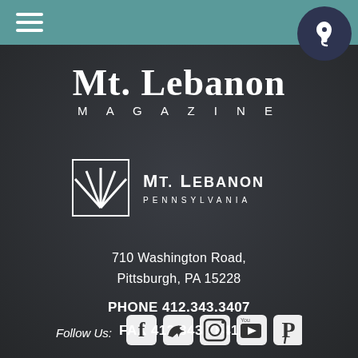[Figure (logo): Mt. Lebanon Magazine text logo in white serif font on dark background]
[Figure (logo): Mt. Lebanon Pennsylvania municipality logo with stylized leaf/fan emblem in a square border]
710 Washington Road,
Pittsburgh, PA 15228
PHONE 412.343.3407
FAX 412.343.7841
Follow Us:
[Figure (infographic): Social media icons row: Facebook, Twitter, Instagram, YouTube, Pinterest]